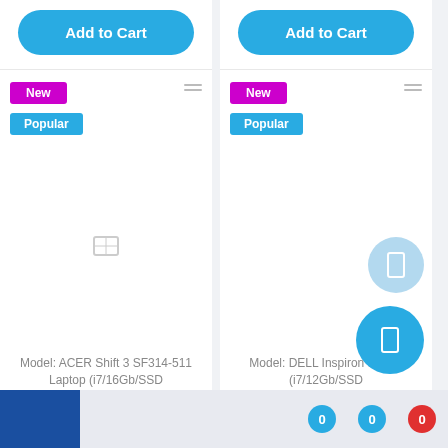[Figure (screenshot): E-commerce product listing page showing two laptop product cards side by side, each with 'Add to Cart' buttons, 'New' and 'Popular' badge tags, product image placeholders, and model descriptions. Left card: ACER Shift 3 SF314-511 Laptop (i7/16Gb/SSD 512Gb/14"IPS). Right card: DELL Inspiron 5 Laptop (i7/12Gb/SSD 256Gb/MX230/14"IPS). Bottom navigation bar with badge counters showing 0.]